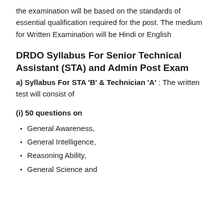the examination will be based on the standards of essential qualification required for the post. The medium for Written Examination will be Hindi or English
DRDO Syllabus For Senior Technical Assistant (STA) and Admin Post Exam
a) Syllabus For STA 'B' & Technician 'A' : The written test will consist of
(i) 50 questions on
General Awareness,
General Intelligence,
Reasoning Ability,
General Science and